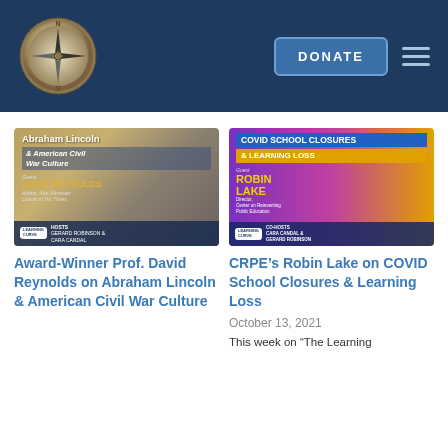Learning Curve — Navigation with compass logo, DONATE button, hamburger menu
[Figure (photo): Podcast cover art: Abraham Lincoln & American Civil War Culture, Guest David Reynolds, Author Abe Abraham Lincoln in His Times, Hosts Gerard Robinson & Cara Candal, Learning Curve]
Award-Winner Prof. David Reynolds on Abraham Lincoln & American Civil War Culture
[Figure (photo): Podcast cover art: COVID School Closures & Learning Loss, Guest Robin Lake, Director Center on Reinventing Public Education, Co-Hosts Cara Candal & Gerard Robinson, Learning Curve]
CRPE’s Robin Lake on COVID School Closures & Learning Loss
October 13, 2021
This week on “The Learning